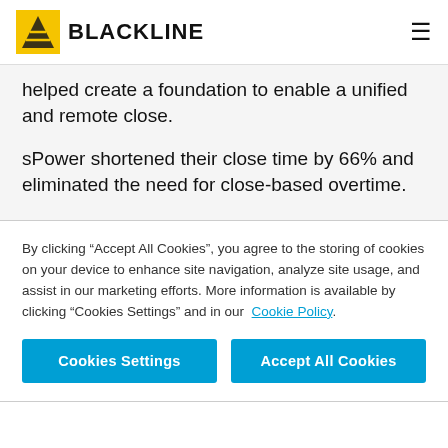BLACKLINE
helped create a foundation to enable a unified and remote close.
sPower shortened their close time by 66% and eliminated the need for close-based overtime.
World Fuel automated 79% of cash reconciliations
By clicking “Accept All Cookies”, you agree to the storing of cookies on your device to enhance site navigation, analyze site usage, and assist in our marketing efforts. More information is available by clicking “Cookies Settings” and in our Cookie Policy.
Cookies Settings
Accept All Cookies